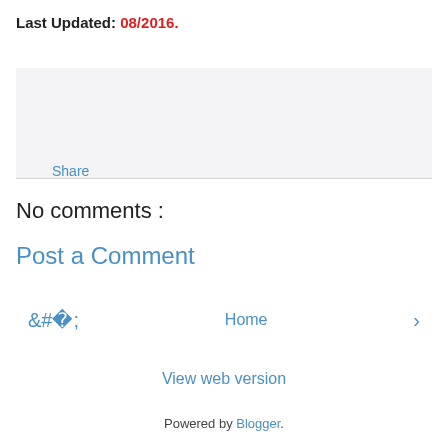Last Updated: 08/2016.
[Figure (other): Share box with light gray background and Share link]
Share
No comments :
Post a Comment
‹   Home   ›
View web version
Powered by Blogger.